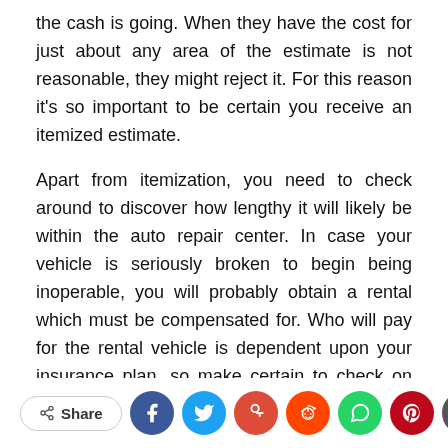the cash is going. When they have the cost for just about any area of the estimate is not reasonable, they might reject it. For this reason it's so important to be certain you receive an itemized estimate.
Apart from itemization, you need to check around to discover how lengthy it will likely be within the auto repair center. In case your vehicle is seriously broken to begin being inoperable, you will probably obtain a rental which must be compensated for. Who will pay for the rental vehicle is dependent upon your insurance plan, so make certain to check on what you are stepping into.
[Figure (other): Social sharing bar with Share button and icons for Facebook, Twitter, Google+, Reddit, WhatsApp, Pinterest, Email, and a scroll-to-top button]